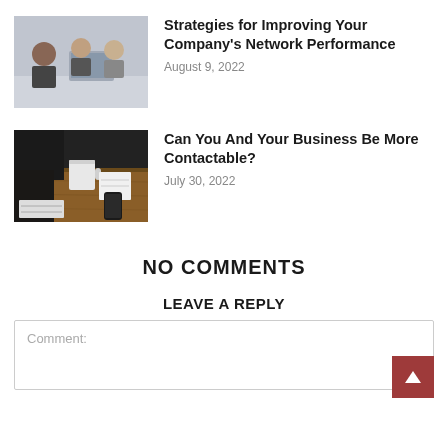[Figure (photo): Three business people sitting at a table with a laptop, in a meeting or discussion]
Strategies for Improving Your Company's Network Performance
August 9, 2022
[Figure (photo): A desk with a coffee mug, notebook, phone, and laptop on a wooden surface]
Can You And Your Business Be More Contactable?
July 30, 2022
NO COMMENTS
LEAVE A REPLY
Comment: